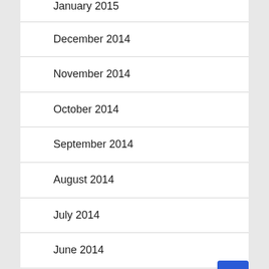January 2015
December 2014
November 2014
October 2014
September 2014
August 2014
July 2014
June 2014
May 2014